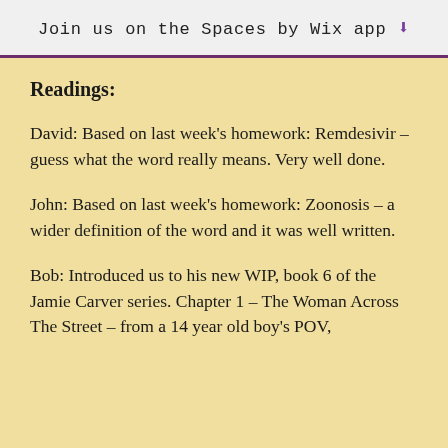Join us on the Spaces by Wix app
Readings:
David: Based on last week's homework: Remdesivir – guess what the word really means. Very well done.
John: Based on last week's homework: Zoonosis – a wider definition of the word and it was well written.
Bob: Introduced us to his new WIP, book 6 of the Jamie Carver series. Chapter 1 – The Woman Across The Street – from a 14 year old boy's POV,